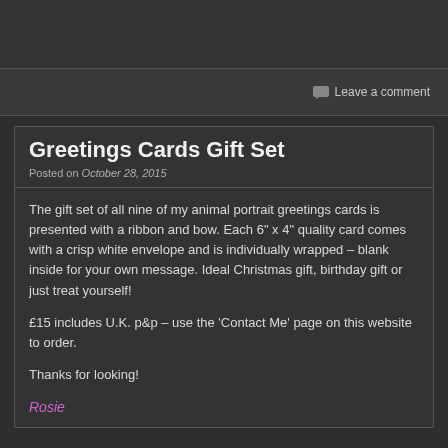Leave a comment
Greetings Cards Gift Set
Posted on October 28, 2015
The gift set of all nine of my animal portrait greetings cards is presented with a ribbon and bow.  Each 6" x 4" quality card comes with a crisp white envelope and is individually wrapped – blank inside for your own message.  Ideal Christmas gift, birthday gift or just treat yourself!
£15 includes U.K. p&p – use the 'Contact Me' page on this website to order.
Thanks for looking!
Rosie